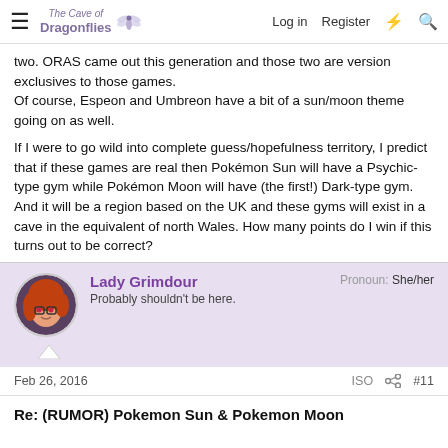≡  The Cave of Dragonflies  Log in  Register  ⚡  🔍
two. ORAS came out this generation and those two are version exclusives to those games.
Of course, Espeon and Umbreon have a bit of a sun/moon theme going on as well.

If I were to go wild into complete guess/hopefulness territory, I predict that if these games are real then Pokémon Sun will have a Psychic-type gym while Pokémon Moon will have (the first!) Dark-type gym. And it will be a region based on the UK and these gyms will exist in a cave in the equivalent of north Wales. How many points do I win if this turns out to be correct?
Lady Grimdour
Probably shouldn't be here.
Pronoun: She/her
Feb 26, 2016  ISO  #11
Re: (RUMOR) Pokemon Sun & Pokemon Moon